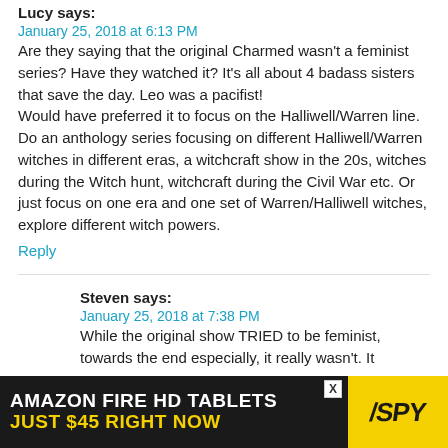Lucy says:
January 25, 2018 at 6:13 PM
Are they saying that the original Charmed wasn't a feminist series? Have they watched it? It's all about 4 badass sisters that save the day. Leo was a pacifist!
Would have preferred it to focus on the Halliwell/Warren line. Do an anthology series focusing on different Halliwell/Warren witches in different eras, a witchcraft show in the 20s, witches during the Witch hunt, witchcraft during the Civil War etc. Or just focus on one era and one set of Warren/Halliwell witches, explore different witch powers.
Reply
Steven says:
January 25, 2018 at 7:38 PM
While the original show TRIED to be feminist, towards the end especially, it really wasn't. It
[Figure (infographic): Advertisement banner: AMAZON FIRE HD TABLETS JUST $45 RIGHT NOW with SPY logo]